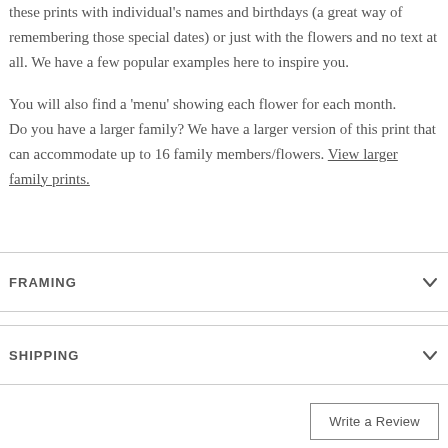these prints with individual's names and birthdays (a great way of remembering those special dates) or just with the flowers and no text at all. We have a few popular examples here to inspire you.
You will also find a 'menu' showing each flower for each month.
Do you have a larger family? We have a larger version of this print that can accommodate up to 16 family members/flowers. View larger family prints.
FRAMING
SHIPPING
Write a Review